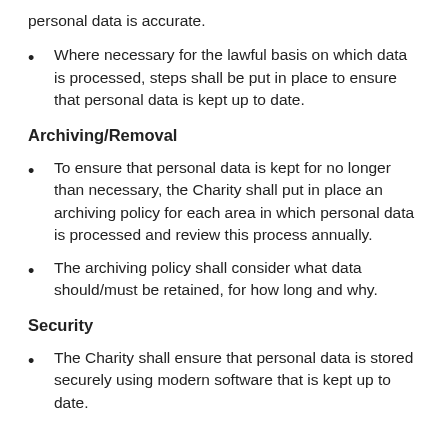personal data is accurate.
Where necessary for the lawful basis on which data is processed, steps shall be put in place to ensure that personal data is kept up to date.
Archiving/Removal
To ensure that personal data is kept for no longer than necessary, the Charity shall put in place an archiving policy for each area in which personal data is processed and review this process annually.
The archiving policy shall consider what data should/must be retained, for how long and why.
Security
The Charity shall ensure that personal data is stored securely using modern software that is kept up to date.